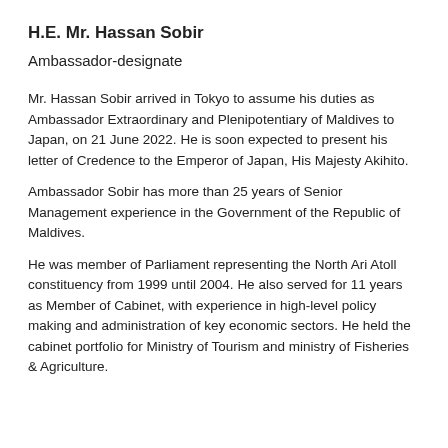H.E. Mr. Hassan Sobir
Ambassador-designate
Mr. Hassan Sobir arrived in Tokyo to assume his duties as Ambassador Extraordinary and Plenipotentiary of Maldives to Japan, on 21 June 2022. He is soon expected to present his letter of Credence to the Emperor of Japan, His Majesty Akihito.
Ambassador Sobir has more than 25 years of Senior Management experience in the Government of the Republic of Maldives.
He was member of Parliament representing the North Ari Atoll constituency from 1999 until 2004. He also served for 11 years as Member of Cabinet, with experience in high-level policy making and administration of key economic sectors. He held the cabinet portfolio for Ministry of Tourism and ministry of Fisheries & Agriculture.